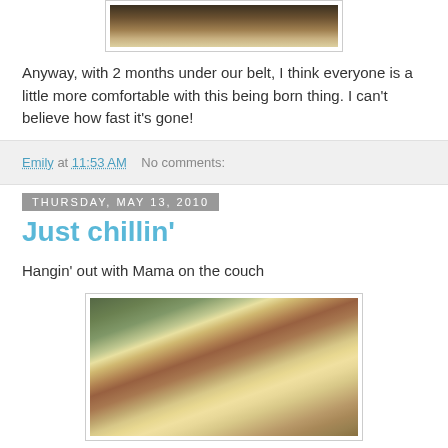[Figure (photo): Partial photo of clothing/fabric in beige/tan tones, cropped at top of page]
Anyway, with 2 months under our belt, I think everyone is a little more comfortable with this being born thing. I can't believe how fast it's gone!
Emily at 11:53 AM    No comments:
Thursday, May 13, 2010
Just chillin'
Hangin' out with Mama on the couch
[Figure (photo): Photo of a baby lying on a plaid blanket on a green couch, with a parent visible, baby wearing a flower headband]